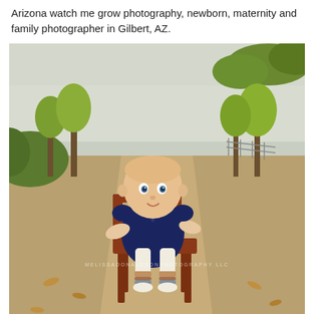Arizona watch me grow photography, newborn, maternity and family photographer in Gilbert, AZ.
[Figure (photo): A baby sitting on a small wooden chair outdoors on a dirt path, wearing a navy blue dress and striped leg warmers, with trees visible in the background. Watermark reads MELISSADONALDSONPHOTOGRAPHY LLC.]